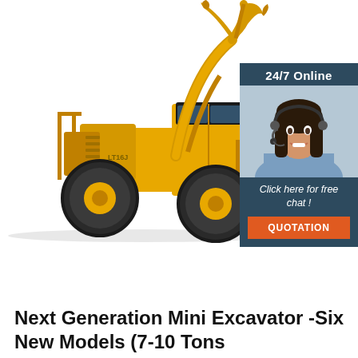[Figure (photo): Large yellow wheel loader/excavator machine (model LT16J or similar) with large front bucket/grapple attachment, shown on white background. A customer service chat widget overlays the right side showing a woman with a headset, '24/7 Online' header, 'Click here for free chat!' text, and an orange QUOTATION button.]
Next Generation Mini Excavator -Six New Models (7-10 Tons